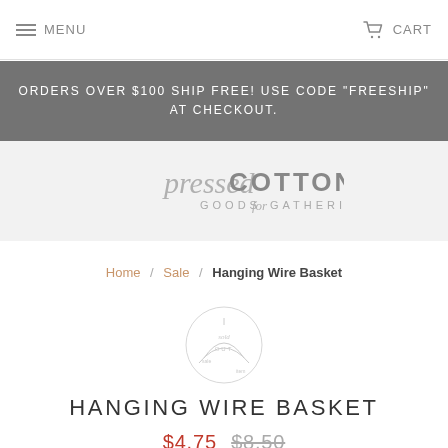MENU   CART
ORDERS OVER $100 SHIP FREE! USE CODE "FREESHIP" AT CHECKOUT.
[Figure (logo): Pressed Cotton Goods for Gatherings logo in grey script and serif text]
Home / Sale / Hanging Wire Basket
[Figure (photo): Faint circular stamp/watermark image of the hanging wire basket product]
HANGING WIRE BASKET
$4.75  $8.50